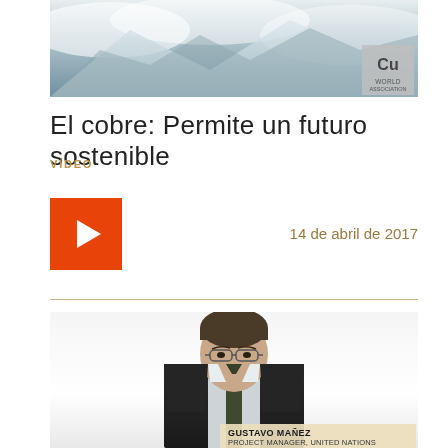[Figure (photo): Aerial or satellite photo of snow-covered mountains with a Cu (copper) element badge in the lower right corner]
El cobre: Permite un futuro sostenible
VÍDEO
[Figure (other): Orange play button on the left and date '14 de abril de 2017' on the right]
[Figure (photo): Video thumbnail showing a man in a dark suit with glasses identified as Gustavo Mañez, Project Manager, United Nations]